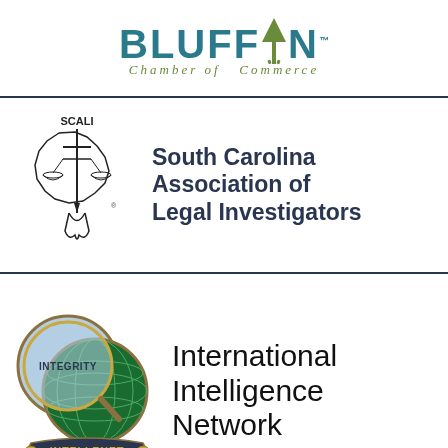[Figure (logo): Bluffton Chamber of Commerce logo with teal lettering and tree symbol]
[Figure (logo): SCALI South Carolina Association of Legal Investigators logo with state outline, sword and scales]
[Figure (logo): Intellenet International Intelligence Network logo with globe and magnifying glass]
Copyright © 2022 Private Investigation Services Group, LLC